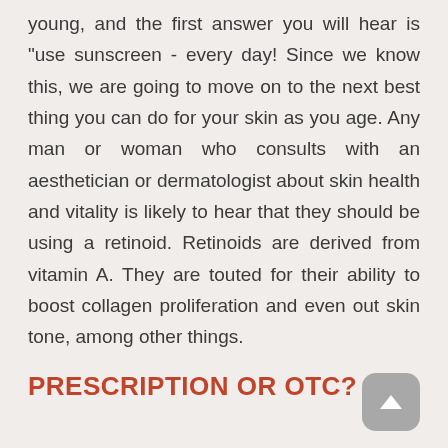young, and the first answer you will hear is "use sunscreen - every day! Since we know this, we are going to move on to the next best thing you can do for your skin as you age. Any man or woman who consults with an aesthetician or dermatologist about skin health and vitality is likely to hear that they should be using a retinoid. Retinoids are derived from vitamin A. They are touted for their ability to boost collagen proliferation and even out skin tone, among other things.
PRESCRIPTION OR OTC?
Because the benefits of retinoids are so well-